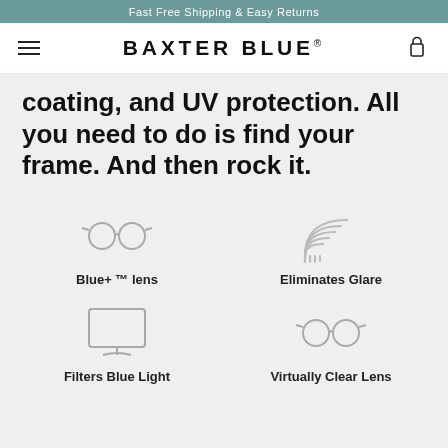Fast Free Shipping & Easy Returns
BAXTER BLUE®
coating, and UV protection. All you need to do is find your frame. And then rock it.
[Figure (illustration): Glasses icon for Blue+ TM lens]
Blue+ ™ lens
[Figure (illustration): Rainbow/arc icon for Eliminates Glare]
Eliminates Glare
[Figure (illustration): Monitor/screen icon for Filters Blue Light]
Filters Blue Light
[Figure (illustration): Glasses icon for Virtually Clear Lens]
Virtually Clear Lens